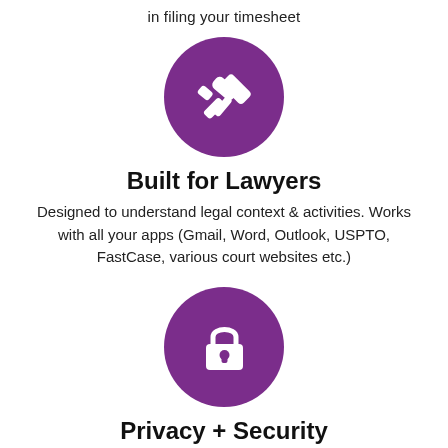in filing your timesheet
[Figure (illustration): Purple circle with white gavel/judge hammer icon]
Built for Lawyers
Designed to understand legal context & activities. Works with all your apps (Gmail, Word, Outlook, USPTO, FastCase, various court websites etc.)
[Figure (illustration): Purple circle with white padlock icon]
Privacy + Security